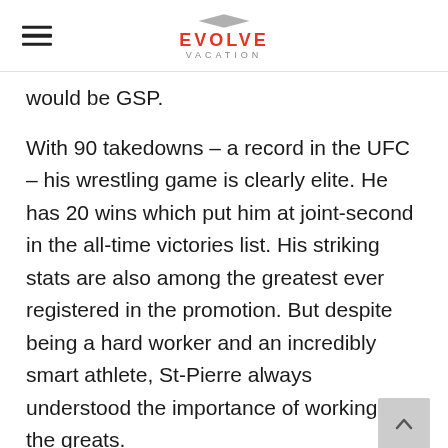EVOLVE VACATION
would be GSP.
With 90 takedowns – a record in the UFC – his wrestling game is clearly elite. He has 20 wins which put him at joint-second in the all-time victories list. His striking stats are also among the greatest ever registered in the promotion. But despite being a hard worker and an incredibly smart athlete, St-Pierre always understood the importance of working with the greats.
“Rush” has a head trainer in the world-